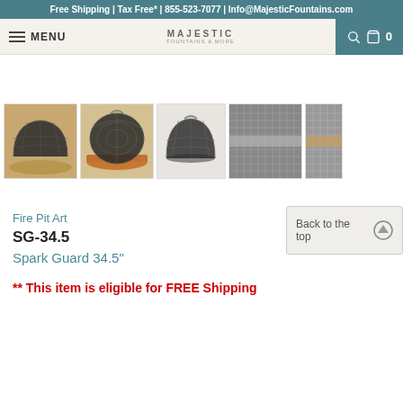Free Shipping | Tax Free* | 855-523-7077 | Info@MajesticFountains.com
[Figure (screenshot): Navigation bar with hamburger menu, MENU text, MAJESTIC fountains logo, search icon, and cart icon with 0]
[Figure (photo): Row of 5 product thumbnail images showing a fire pit spark guard dome from various angles - side view with fire pit, back view, front closed view, mesh texture close-up, and another close-up]
Fire Pit Art
SG-34.5
Spark Guard 34.5"
** This item is eligible for FREE Shipping
[Figure (other): Back to the top button with upward arrow circle icon]